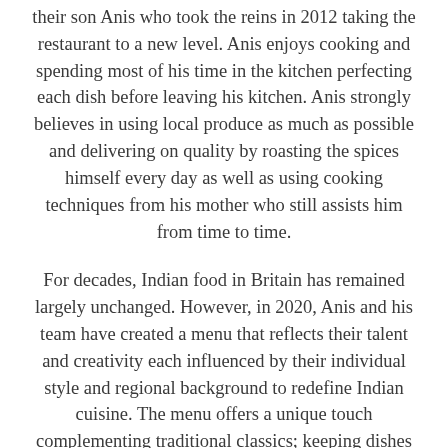their son Anis who took the reins in 2012 taking the restaurant to a new level. Anis enjoys cooking and spending most of his time in the kitchen perfecting each dish before leaving his kitchen. Anis strongly believes in using local produce as much as possible and delivering on quality by roasting the spices himself every day as well as using cooking techniques from his mother who still assists him from time to time.
For decades, Indian food in Britain has remained largely unchanged. However, in 2020, Anis and his team have created a menu that reflects their talent and creativity each influenced by their individual style and regional background to redefine Indian cuisine. The menu offers a unique touch complementing traditional classics; keeping dishes familiar yet original. Our ethos is to bring you the best dining experience in an elegant surrounding, serving fresh and